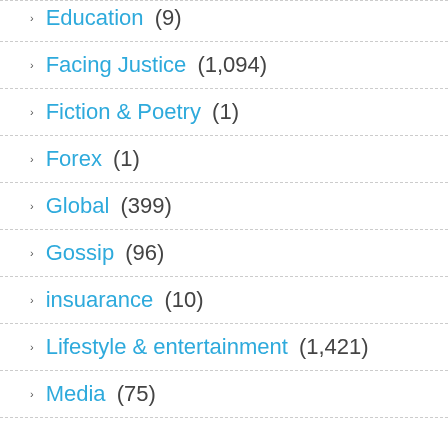Education (9)
Facing Justice (1,094)
Fiction & Poetry (1)
Forex (1)
Global (399)
Gossip (96)
insuarance (10)
Lifestyle & entertainment (1,421)
Media (75)